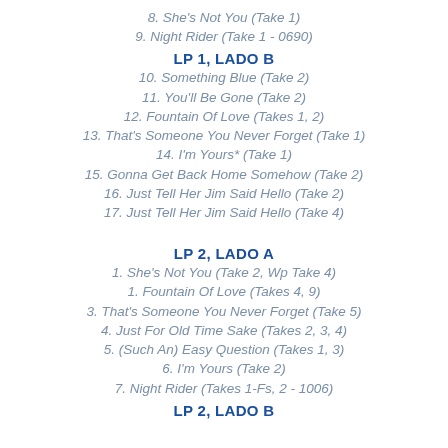8. She's Not You (Take 1)
9. Night Rider (Take 1 - 0690)
LP 1, LADO B
10. Something Blue (Take 2)
11. You'll Be Gone (Take 2)
12. Fountain Of Love (Takes 1, 2)
13. That's Someone You Never Forget (Take 1)
14. I'm Yours* (Take 1)
15. Gonna Get Back Home Somehow (Take 2)
16. Just Tell Her Jim Said Hello (Take 2)
17. Just Tell Her Jim Said Hello (Take 4)
LP 2, LADO A
1. She's Not You (Take 2, Wp Take 4)
1. Fountain Of Love (Takes 4, 9)
3. That's Someone You Never Forget (Take 5)
4. Just For Old Time Sake (Takes 2, 3, 4)
5. (Such An) Easy Question (Takes 1, 3)
6. I'm Yours (Take 2)
7. Night Rider (Takes 1-Fs, 2 - 1006)
LP 2, LADO B